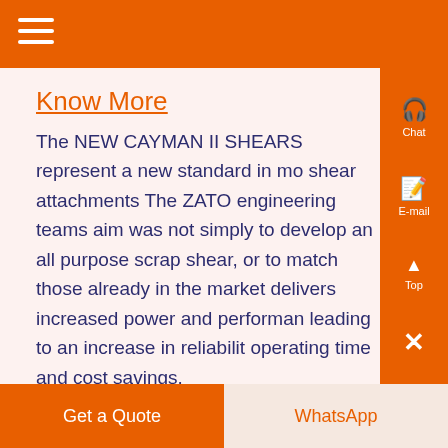≡
Know More
The NEW CAYMAN II SHEARS represent a new standard in mo shear attachments The ZATO engineering teams aim was not simply to develop an all purpose scrap shear, or to match those already in the market delivers increased power and performan leading to an increase in reliabilit operating time and cost savings.
Get a Quote | WhatsApp